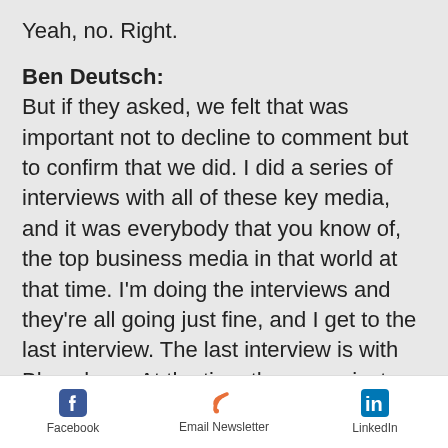Yeah, no. Right.
Ben Deutsch:
But if they asked, we felt that was important not to decline to comment but to confirm that we did. I did a series of interviews with all of these key media, and it was everybody that you know of, the top business media in that world at that time. I'm doing the interviews and they're all going just fine, and I get to the last interview. The last interview is with Bloomberg. At the time they were just a wire service. I did the interviews, 15 minutes long and the reporter said, "Okay, that's great.
Facebook   Email Newsletter   LinkedIn